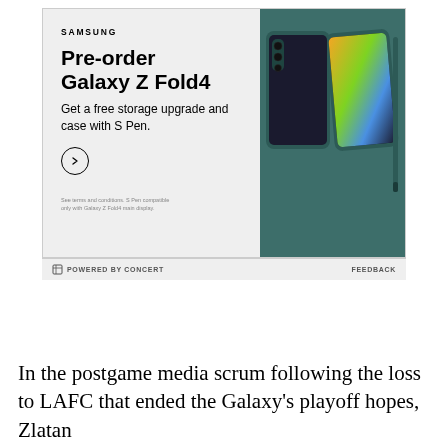[Figure (other): Samsung advertisement for Galaxy Z Fold4 pre-order. Shows phone device image on right side against gray background. Text reads: SAMSUNG, Pre-order Galaxy Z Fold4, Get a free storage upgrade and case with S Pen. Arrow circle button visible. Fine print at bottom. Footer shows POWERED BY CONCERT and FEEDBACK.]
In the postgame media scrum following the loss to LAFC that ended the Galaxy's playoff hopes, Zlatan